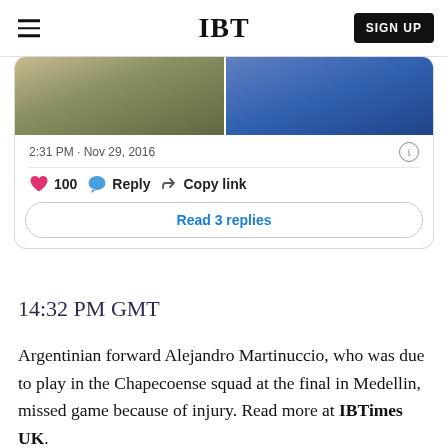IBT
[Figure (screenshot): Tweet card showing two photos (left: outdoor scene with figures, right: people in high-visibility vests), timestamp '2:31 PM · Nov 29, 2016', 100 likes, Reply, Copy link, and Read 3 replies button]
14:32 PM GMT
Argentinian forward Alejandro Martinuccio, who was due to play in the Chapecoense squad at the final in Medellin, missed game because of injury. Read more at IBTimes UK.